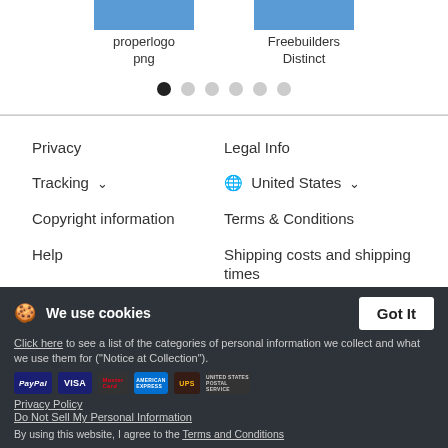[Figure (logo): Two logo placeholder images: 'properlogo png' and 'Freebuilders Distinct']
[Figure (other): Carousel pagination dots, 6 dots, first one active/filled]
Privacy
Tracking ∨
Copyright information
Help
Legal Info
🌐 United States ∨
Terms & Conditions
Shipping costs and shipping times
service@spreadshirt.com
+1 800 381 0815 (Mon - Fri 8am - 7pm ET)
We use cookies
Click here to see a list of the categories of personal information we collect and what we use them for ("Notice at Collection").
Privacy Policy
Do Not Sell My Personal Information
By using this website, I agree to the Terms and Conditions